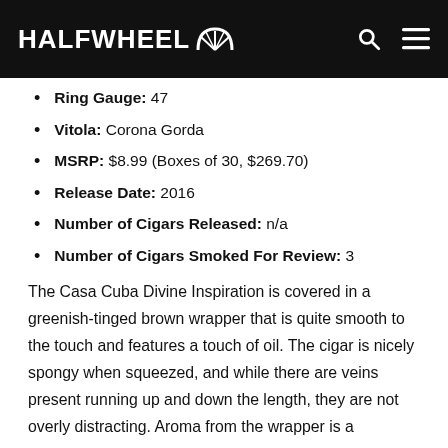HALFWHEEL
Ring Gauge: 47
Vitola: Corona Gorda
MSRP: $8.99 (Boxes of 30, $269.70)
Release Date: 2016
Number of Cigars Released: n/a
Number of Cigars Smoked For Review: 3
The Casa Cuba Divine Inspiration is covered in a greenish-tinged brown wrapper that is quite smooth to the touch and features a touch of oil. The cigar is nicely spongy when squeezed, and while there are veins present running up and down the length, they are not overly distracting. Aroma from the wrapper is a combination of barnyard, hay, manure, oak, sawdust